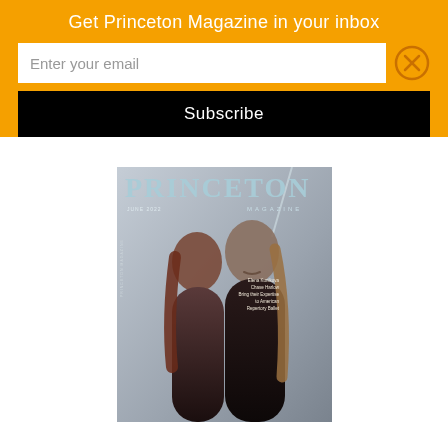Get Princeton Magazine in your inbox
Enter your email
Subscribe
[Figure (photo): Cover of Princeton Magazine June 2022 issue showing two people dressed in black against a gray background, with the large PRINCETON masthead in light blue and MAGAZINE subtitle.]